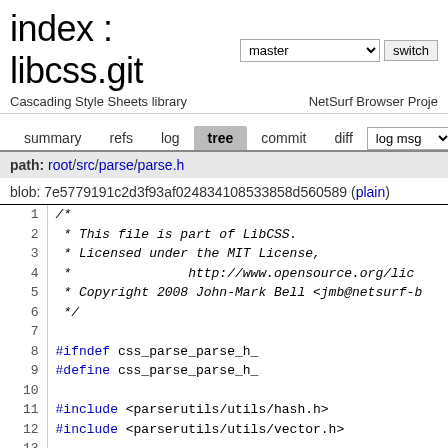index : libcss.git
Cascading Style Sheets library    NetSurf Browser Project
summary  refs  log  tree  commit  diff  log msg
path: root/src/parse/parse.h
blob: 7e5779191c2d3f93af024834108533858d560589 (plain)
1  /*
2   * This file is part of LibCSS.
3   * Licensed under the MIT License,
4   *               http://www.opensource.org/lic
5   * Copyright 2008 John-Mark Bell <jmb@netsurf-b
6   */
7
8  #ifndef css_parse_parse_h_
9  #define css_parse_parse_h_
10
11 #include <parserutils/utils/hash.h>
12 #include <parserutils/utils/vector.h>
13
14 #include <libcss/errors.h>
15 #include <libcss/functypes.h>
16 #include <libcss/types.h>
17